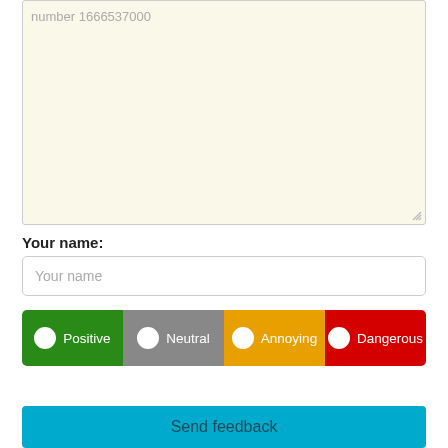number 1666537000
Your name:
Your name
Positive
Neutral
Annoying
Dangerous
Send feedback